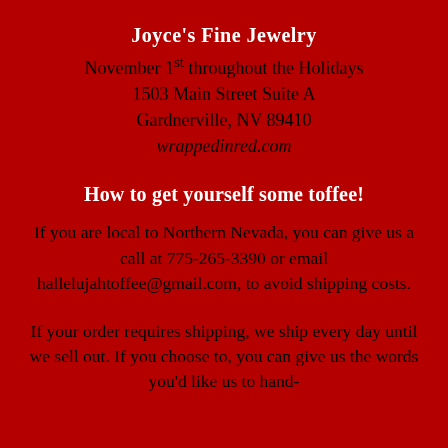Joyce's Fine Jewelry
November 1st throughout the Holidays
1503 Main Street Suite A
Gardnerville, NV 89410
wrappedinred.com
How to get yourself some toffee!
If you are local to Northern Nevada, you can give us a call at 775-265-3390 or email hallelujahtoffee@gmail.com, to avoid shipping costs.
If your order requires shipping, we ship every day until we sell out. If you choose to, you can give us the words you'd like us to hand-